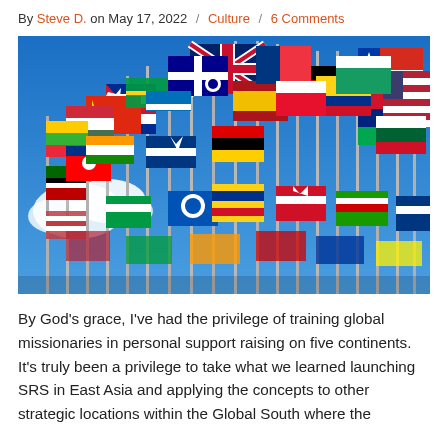By Steve D. on May 17, 2022 / Culture / 6 Comments
[Figure (photo): Many colorful international flags on poles against a blue sky with clouds]
By God’s grace, I’ve had the privilege of training global missionaries in personal support raising on five continents. It’s truly been a privilege to take what we learned launching SRS in East Asia and applying the concepts to other strategic locations within the Global South where the